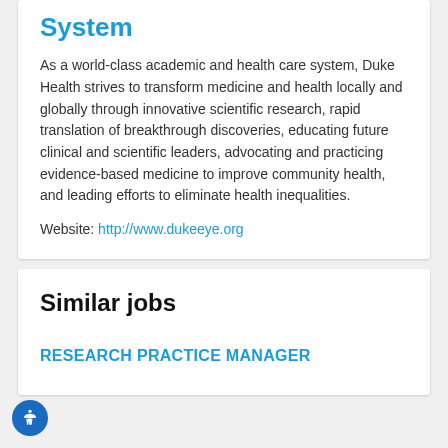System
As a world-class academic and health care system, Duke Health strives to transform medicine and health locally and globally through innovative scientific research, rapid translation of breakthrough discoveries, educating future clinical and scientific leaders, advocating and practicing evidence-based medicine to improve community health, and leading efforts to eliminate health inequalities.
Website: http://www.dukeeye.org
Similar jobs
RESEARCH PRACTICE MANAGER